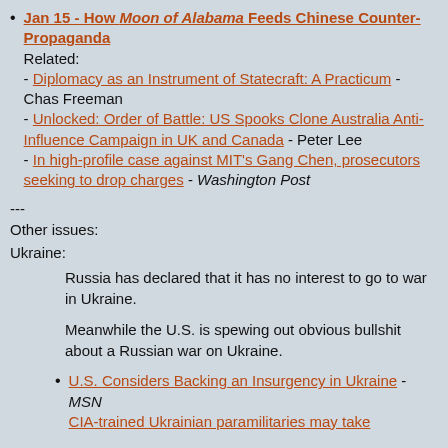Jan 15 - How Moon of Alabama Feeds Chinese Counter-Propaganda
Related:
- Diplomacy as an Instrument of Statecraft: A Practicum - Chas Freeman
- Unlocked: Order of Battle: US Spooks Clone Australia Anti-Influence Campaign in UK and Canada - Peter Lee
- In high-profile case against MIT's Gang Chen, prosecutors seeking to drop charges - Washington Post
---
Other issues:
Ukraine:
Russia has declared that it has no interest to go to war in Ukraine.
Meanwhile the U.S. is spewing out obvious bullshit about a Russian war on Ukraine.
U.S. Considers Backing an Insurgency in Ukraine - MSN
CIA-trained Ukrainian paramilitaries may take...